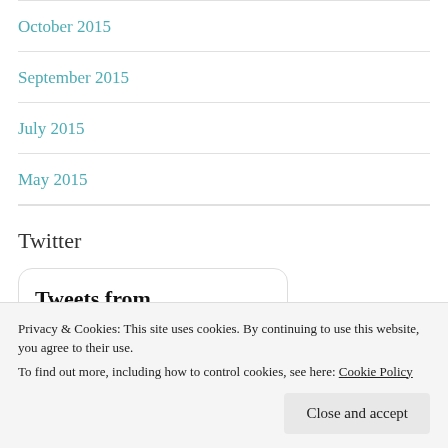October 2015
September 2015
July 2015
May 2015
Twitter
Tweets from @georgia_coan
but I'm sitting here bawling...
Privacy & Cookies: This site uses cookies. By continuing to use this website, you agree to their use. To find out more, including how to control cookies, see here: Cookie Policy
Close and accept